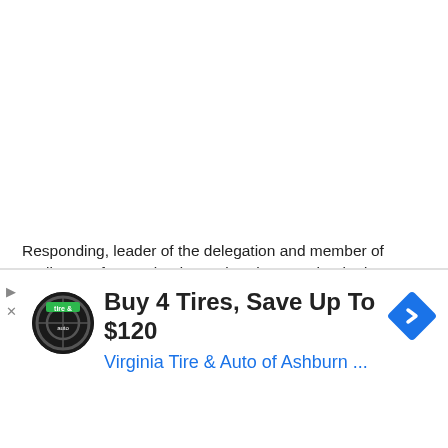Responding, leader of the delegation and member of Parliament from Ireland, Mr. Jim Shannon thanked Governor Ortom for availing the delegation with a comprehensive insight into the issues assured that they would present his case at the right department back home to get positive results.
In their separate comments, Brendan O'Hara, of House of Commons and Rachel Miner who acknowledged that the religious crisis in Nigeria was getting worse said they would continue to talk to ment, religious and civil society leaders to affect the desired
[Figure (other): Advertisement banner: Virginia Tire & Auto of Ashburn. Buy 4 Tires, Save Up To $120. Circular logo with tire and auto imagery on black background. Blue navigation road sign icon.]